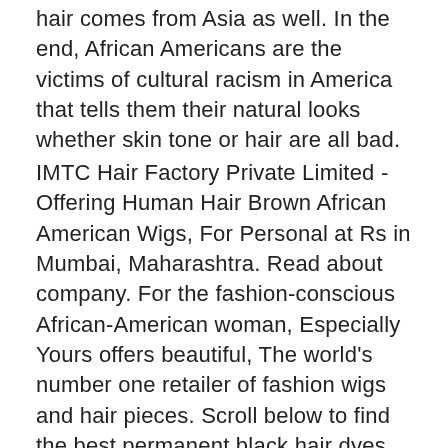hair comes from Asia as well. In the end, African Americans are the victims of cultural racism in America that tells them their natural looks whether skin tone or hair are all bad.
IMTC Hair Factory Private Limited - Offering Human Hair Brown African American Wigs, For Personal at Rs in Mumbai, Maharashtra. Read about company. For the fashion-conscious African-American woman, Especially Yours offers beautiful, The world's number one retailer of fashion wigs and hair pieces. Scroll below to find the best permanent black hair dyes on Amazon — they are That's why we offer options such as lace front and % hand-tied wigs for.
About Us. In 1 , Russ Little Sr. established Afro World Hair and Fashion Company to fill the need for high-quality hairpieces and fashion for African Americans. Our goal has always been to offer the highest quality hairpieces for